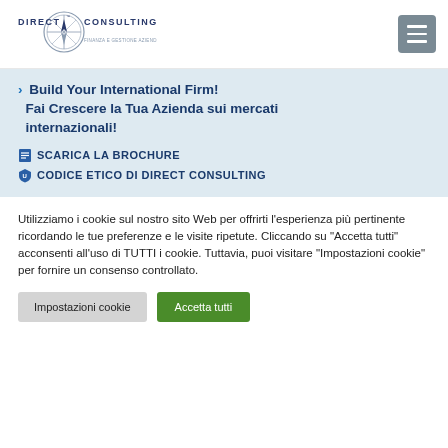[Figure (logo): Direct Consulting logo with compass icon and tagline]
Build Your International Firm! Fai Crescere la Tua Azienda sui mercati internazionali!
SCARICA LA BROCHURE
CODICE ETICO DI DIRECT CONSULTING
Utilizziamo i cookie sul nostro sito Web per offrirti l'esperienza più pertinente ricordando le tue preferenze e le visite ripetute. Cliccando su "Accetta tutti" acconsenti all'uso di TUTTI i cookie. Tuttavia, puoi visitare "Impostazioni cookie" per fornire un consenso controllato.
Impostazioni cookie | Accetta tutti